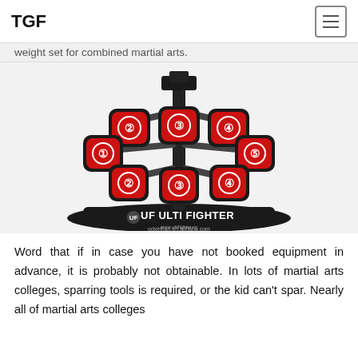TGF
weight set for combined martial arts.
[Figure (photo): Ulti Fighter boxing target training device with 8 numbered red padded striking targets mounted on a black base. The targets are labeled 1-5 (upper row: 2,3,4; middle: 1 and 5 on sides; lower row: 2,3,4). The base reads 'UF ULTI FIGHTER' with website www.ultifighter.cn. Watermark reads qdxinhan.en.alibaba.com]
Word that if in case you have not booked equipment in advance, it is probably not obtainable. In lots of martial arts colleges, sparring tools is required, or the kid can't spar. Nearly all of martial arts colleges